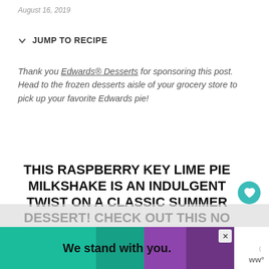August 16, 2019
JUMP TO RECIPE
Thank you Edwards® Desserts for sponsoring this post. Head to the frozen desserts aisle of your grocery store to pick up your favorite Edwards pie!
THIS RASPBERRY KEY LIME PIE MILKSHAKE IS AN INDULGENT TWIST ON A CLASSIC SUMMER DESSERT! CHECK OUT THIS NO BAKE RECIPE AND MAKE IT FOR YOUR END OF SUMMER SOIRÉE!
[Figure (screenshot): Advertisement banner: 'We stand with you.' with teal, green, blue and purple background colors and a close button.]